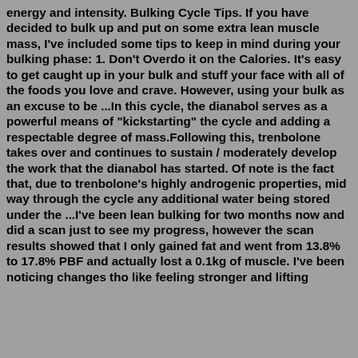energy and intensity. Bulking Cycle Tips. If you have decided to bulk up and put on some extra lean muscle mass, I've included some tips to keep in mind during your bulking phase: 1. Don't Overdo it on the Calories. It's easy to get caught up in your bulk and stuff your face with all of the foods you love and crave. However, using your bulk as an excuse to be ...In this cycle, the dianabol serves as a powerful means of "kickstarting" the cycle and adding a respectable degree of mass.Following this, trenbolone takes over and continues to sustain / moderately develop the work that the dianabol has started. Of note is the fact that, due to trenbolone's highly androgenic properties, mid way through the cycle any additional water being stored under the ...I've been lean bulking for two months now and did a scan just to see my progress, however the scan results showed that I only gained fat and went from 13.8% to 17.8% PBF and actually lost a 0.1kg of muscle. I've been noticing changes tho like feeling stronger and lifting